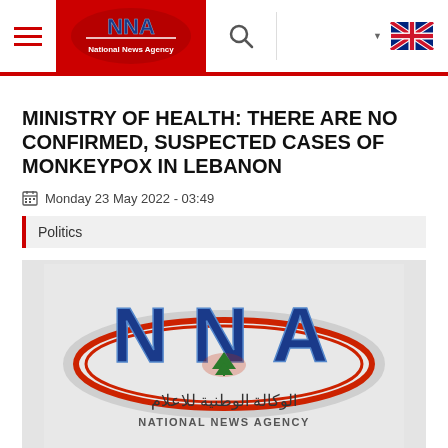NNA - National News Agency
MINISTRY OF HEALTH: THERE ARE NO CONFIRMED, SUSPECTED CASES OF MONKEYPOX IN LEBANON
Monday 23 May 2022 - 03:49
Politics
[Figure (logo): NNA National News Agency logo with Arabic text and Lebanese cedar, large version]